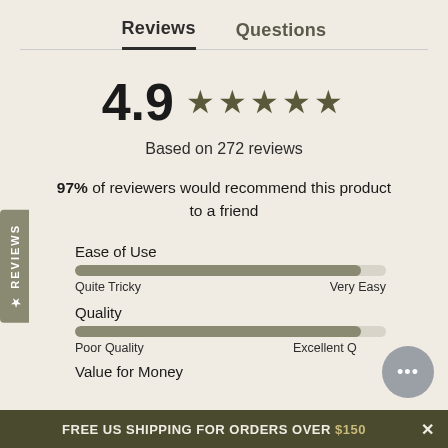Reviews   Questions
4.9 ★★★★★
Based on 272 reviews
97% of reviewers would recommend this product to a friend
Ease of Use
Quite Tricky … Very Easy
Quality
Poor Quality … Excellent Quality
Value for Money
FREE US SHIPPING FOR ORDERS OVER $150